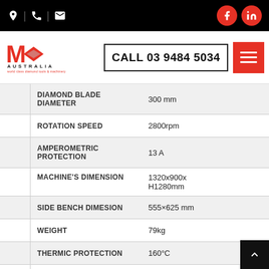MK Australia | CALL 03 9484 5034
| Specification | Value |
| --- | --- |
| DIAMOND BLADE DIAMETER | 300 mm |
| ROTATION SPEED | 2800rpm |
| AMPEROMETRIC PROTECTION | 13 A |
| MACHINE'S DIMENSION | 1320x900x H1280mm |
| SIDE BENCH DIMESION | 555×625 mm |
| WEIGHT | 79kg |
| THERMIC PROTECTION | 160°C |
| WATER PUMP | S3 |